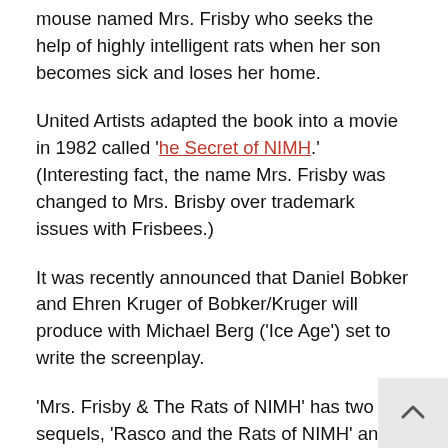mouse named Mrs. Frisby who seeks the help of highly intelligent rats when her son becomes sick and loses her home.
United Artists adapted the book into a movie in 1982 called 'The Secret of NIMH.' (Interesting fact, the name Mrs. Frisby was changed to Mrs. Brisby over trademark issues with Frisbees.)
It was recently announced that Daniel Bobker and Ehren Kruger of Bobker/Kruger will produce with Michael Berg ('Ice Age') set to write the screenplay.
'Mrs. Frisby & The Rats of NIMH' has two sequels, 'Rasco and the Rats of NIMH' and 'R-T Margaret and the Rats of NIMH' penned by O'Brien's daughter, Jane Leslie Conly.
Paramount had previously attempted to turn these books into a franchise. A sequel to the movie 'The Secret of NIMH 2: Timmy to the Rescue' was a direct-to-video release in 1998. It was not based on 'Rasco and the Rats